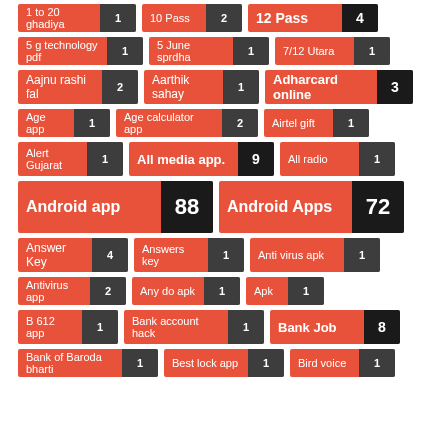[Figure (infographic): Tag cloud / label grid showing Android app categories with counts. Each tag has a salmon/orange-red label area and a dark grey count badge. Items include: 1 to 20 ghadiya (1), 10 Pass (2), 12 Pass (4), 5 g technology pdf (1), 5 June sprdha (1), 7/12 Utara (1), Aajnu rashi fal (2), Aarthik sahay (1), Adharcard online (3), Age app (1), Age calculator app (2), Airtel gift (1), Alert Gujarat (1), All media app. (9), All radio (1), Android app (88), Android Apps (72), Answer Key (4), Answers key (1), Anti virus apk (1), Antivirus app (2), Any do apk (1), Apk (1), B 612 app (1), Bank account hack (1), Bank Job (8), Bank of Baroda bharti (1), Best lock app (1), Bird voice (1)]